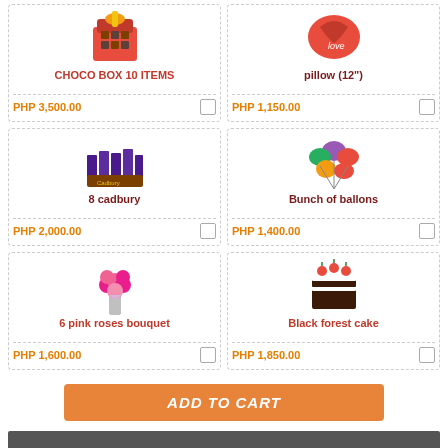[Figure (photo): Chocolate gift box with 10 items]
CHOCO BOX 10 ITEMS
PHP 3,500.00
[Figure (photo): Love pillow 12 inch]
pillow (12")
PHP 1,150.00
[Figure (photo): 8 Cadbury chocolate bars]
8 cadbury
PHP 2,000.00
[Figure (photo): Bunch of colorful balloons]
Bunch of ballons
PHP 1,400.00
[Figure (photo): 6 pink roses bouquet]
6 pink roses bouquet
PHP 1,600.00
[Figure (photo): Black forest cake slice]
Black forest cake
PHP 1,850.00
ADD TO CART